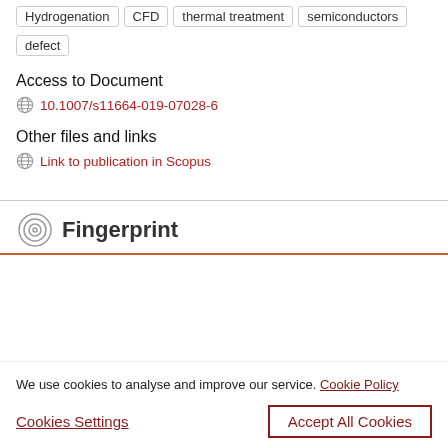Hydrogenation
CFD
thermal treatment
semiconductors
defect
Access to Document
10.1007/s11664-019-07028-6
Other files and links
Link to publication in Scopus
Fingerprint
We use cookies to analyse and improve our service. Cookie Policy
Cookies Settings
Accept All Cookies